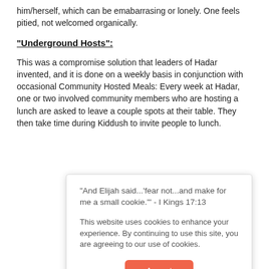him/herself, which can be emabarrasing or lonely. One feels pitied, not welcomed organically.
"Underground Hosts":
This was a compromise solution that leaders of Hadar invented, and it is done on a weekly basis in conjunction with occasional Community Hosted Meals: Every week at Hadar, one or two involved community members who are hosting a lunch are asked to leave a couple spots at their table. They then take time during Kiddush to invite people to lunch.
"And Elijah said...'fear not...and make for me a small cookie.'" - I Kings 17:13
This website uses cookies to enhance your experience. By continuing to use this site, you are agreeing to our use of cookies.